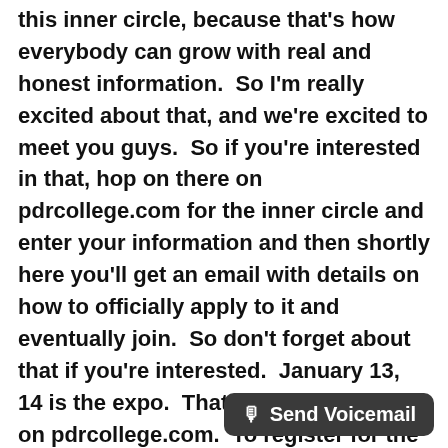this inner circle, because that's how everybody can grow with real and honest information.  So I'm really excited about that, and we're excited to meet you guys.  So if you're interested in that, hop on there on pdrcollege.com for the inner circle and enter your information and then shortly here you'll get an email with details on how to officially apply to it and eventually join.  So don't forget about that if you're interested.  January 13, 14 is the expo.  That's also going to be on pdrcollege.com.  To register for the seminar, go there.  If you're just waiting on information, just make sure you're on our email list that says, "Receive alerts for new podcasts."  You got anything else at the end here Shane?
Keith Consentino:    I believe you covered it. Keith
Shane Jacks:    Okay fellas.  T...